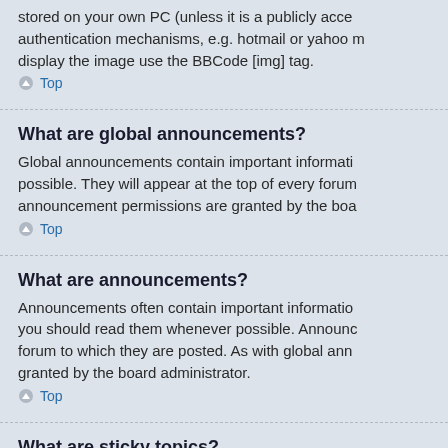stored on your own PC (unless it is a publicly accessible authentication mechanisms, e.g. hotmail or yahoo display the image use the BBCode [img] tag.
Top
What are global announcements?
Global announcements contain important informati possible. They will appear at the top of every forum announcement permissions are granted by the boa
Top
What are announcements?
Announcements often contain important informatio you should read them whenever possible. Announc forum to which they are posted. As with global ann granted by the board administrator.
Top
What are sticky topics?
Sticky topics within the forum appear below announ often quite important so you should read them whe global announcements, sticky topic permissions ar